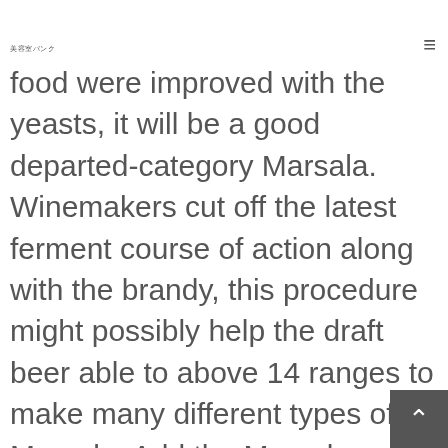美容室バンク
food were improved with the yeasts, it will be a good departed-category Marsala. Winemakers cut off the latest ferment course of action along with the brandy, this procedure might possibly help the draft beer able to above 14 ranges to make many different types of Marsala. Add the Marsala and commence scratch the bottom of a new cookware if you want to release browned chunks. Add some broth and simmer just up until reduced on fifty percent and initiate setting up if you like to thicken, approximately saturate